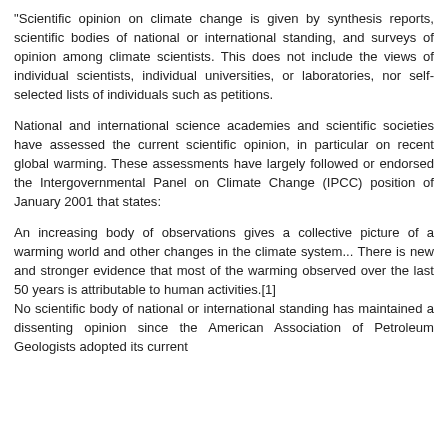"Scientific opinion on climate change is given by synthesis reports, scientific bodies of national or international standing, and surveys of opinion among climate scientists. This does not include the views of individual scientists, individual universities, or laboratories, nor self-selected lists of individuals such as petitions.
National and international science academies and scientific societies have assessed the current scientific opinion, in particular on recent global warming. These assessments have largely followed or endorsed the Intergovernmental Panel on Climate Change (IPCC) position of January 2001 that states:
An increasing body of observations gives a collective picture of a warming world and other changes in the climate system... There is new and stronger evidence that most of the warming observed over the last 50 years is attributable to human activities.[1] No scientific body of national or international standing has maintained a dissenting opinion since the American Association of Petroleum Geologists adopted its current